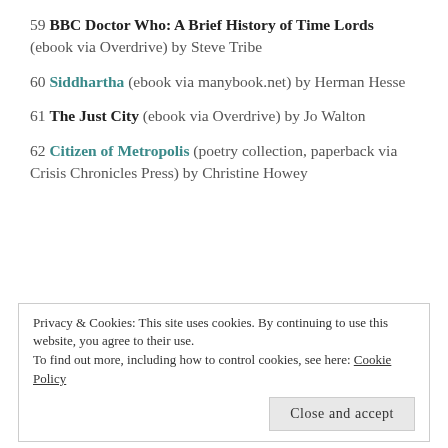59 BBC Doctor Who: A Brief History of Time Lords (ebook via Overdrive) by Steve Tribe
60 Siddhartha (ebook via manybook.net) by Herman Hesse
61 The Just City (ebook via Overdrive) by Jo Walton
62 Citizen of Metropolis (poetry collection, paperback via Crisis Chronicles Press) by Christine Howey
Privacy & Cookies: This site uses cookies. By continuing to use this website, you agree to their use. To find out more, including how to control cookies, see here: Cookie Policy